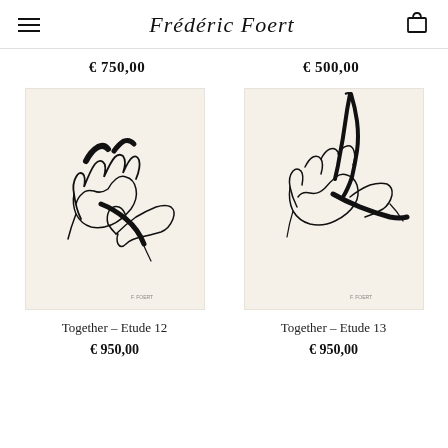Frédéric Foert
€ 750,00
€ 500,00
[Figure (illustration): Line art drawing of two hands intertwined with bold black ink strokes on cream background, artwork titled Together – Etude 12]
[Figure (illustration): Line art drawing of hands with a feather/pen and bold black ink strokes on cream background, artwork titled Together – Etude 13]
Together – Etude 12
€ 950,00
Together – Etude 13
€ 950,00